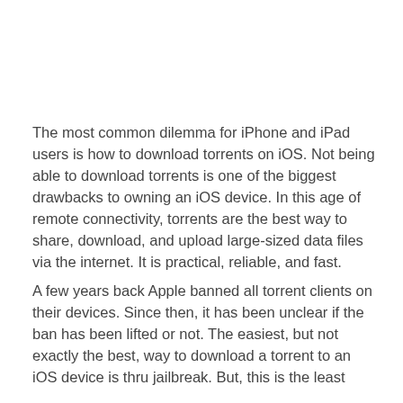The most common dilemma for iPhone and iPad users is how to download torrents on iOS. Not being able to download torrents is one of the biggest drawbacks to owning an iOS device. In this age of remote connectivity, torrents are the best way to share, download, and upload large-sized data files via the internet. It is practical, reliable, and fast.
A few years back Apple banned all torrent clients on their devices. Since then, it has been unclear if the ban has been lifted or not. The easiest, but not exactly the best, way to download a torrent to an iOS device is thru jailbreak. But, this is the least